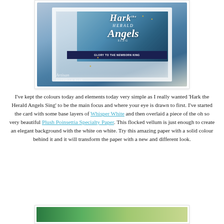[Figure (photo): A handmade greeting card with a blue ombre panel featuring decorative script text reading 'Hark the Herald Angels Sing', set against a white embossed background with a dark banner reading 'Glory to the Newborn King'. Watermark reads 'Artisan' and byline 'Rochelle Blok'. Gold dot embellishments visible.]
I've kept the colours today and elements today very simple as I really wanted 'Hark the Herald Angels Sing' to be the main focus and where your eye is drawn to first. I've started the card with some base layers of Whisper White and then overlaid a piece of the oh so very beautiful Plush Poinsettia Specialty Paper. This flocked vellum is just enough to create an elegant background with the white on white. Try this amazing paper with a solid colour behind it and it will transform the paper with a new and different look.
[Figure (photo): A partially visible photograph at the bottom of the page showing green foliage.]